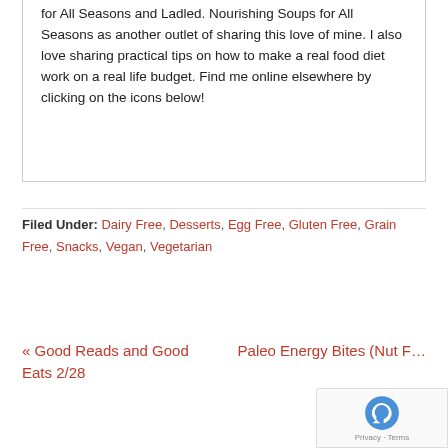for All Seasons and Ladled. Nourishing Soups for All Seasons as another outlet of sharing this love of mine. I also love sharing practical tips on how to make a real food diet work on a real life budget. Find me online elsewhere by clicking on the icons below!
Filed Under: Dairy Free, Desserts, Egg Free, Gluten Free, Grain Free, Snacks, Vegan, Vegetarian
« Good Reads and Good Eats 2/28
Paleo Energy Bites (Nut F...